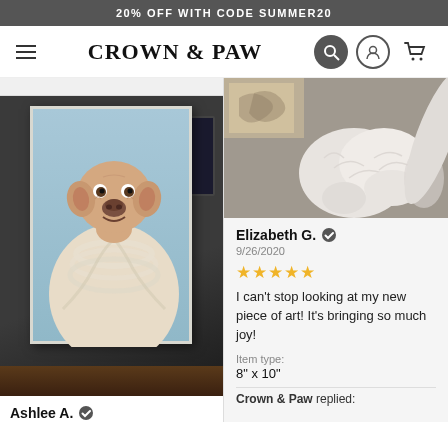20% OFF WITH CODE SUMMER20
CROWN & PAW
[Figure (photo): Dog portrait painting in renaissance style — a light tan pitbull dog dressed in a white pearl-adorned robe/garment, painted on canvas, displayed on a dark wooden table against a dark background]
Ashlee A. ✓
[Figure (photo): Close-up photo of a fluffy white dog's paws and lower body on a grey carpet, with a decorative canvas print partially visible in the upper left corner]
Elizabeth G. ✓
9/26/2020
★★★★★
I can't stop looking at my new piece of art! It's bringing so much joy!
Item type:
8" x 10"
Crown & Paw replied: